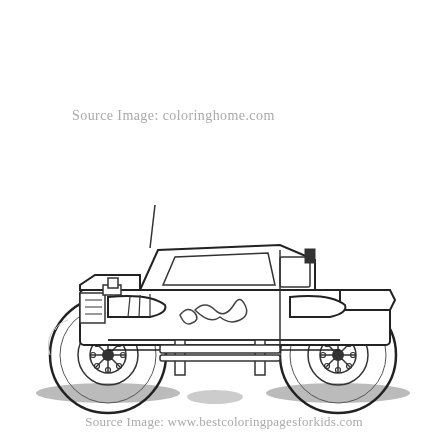Source Image: coloringhome.com
[Figure (illustration): Black and white coloring page illustration of a monster truck with large oversized tires, flame graphics on the side, checkered pattern near rear, antenna on front, visible engine details, and shadow beneath the vehicle.]
Source Image: www.bestcoloringpagesforkids.com